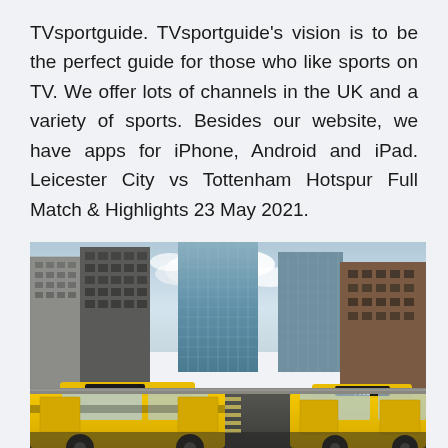TVsportguide. TVsportguide's vision is to be the perfect guide for those who like sports on TV. We offer lots of channels in the UK and a variety of sports. Besides our website, we have apps for iPhone, Android and iPad. Leicester City vs Tottenham Hotspur Full Match & Highlights 23 May 2021.
[Figure (photo): Street-level photo of a busy urban avenue lined with tall skyscrapers and glass buildings on both sides, with yellow New York City taxis (license plates 4K72 and 7V53) in the foreground and cloudy sky visible between the buildings.]